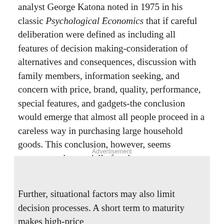analyst George Katona noted in 1975 in his classic Psychological Economics that if careful deliberation were defined as including all features of decision making-consideration of alternatives and consequences, discussion with family members, information seeking, and concern with price, brand, quality, performance, special features, and gadgets-the conclusion would emerge that almost all people proceed in a careless way in purchasing large household goods. This conclusion, however, seems unwarranted, especially for shorter-term purchases of a more urgent nature.
Advertisement
[Figure (other): Advertisement placeholder box with light gray background]
Further, situational factors may also limit decision processes. A short term to maturity makes high-price